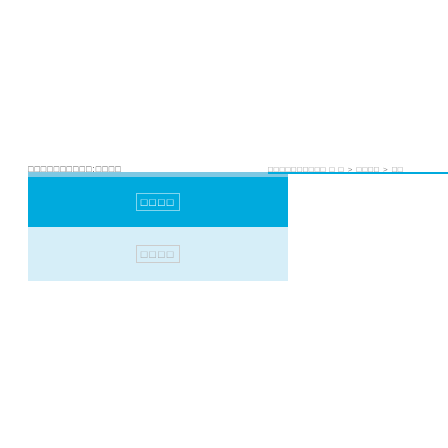□□□□□□□□□□:□□□□
[Figure (screenshot): A dropdown UI element with a light blue background. The top has a thin lighter blue bar, then a bright blue selected row with white box-outlined text showing placeholder squares, then a lighter blue unselected option row below with grey outlined text showing placeholder squares.]
□□□□□□□□□□ □ □ > □□□□ > □□
[Figure (other): A horizontal blue line separator]